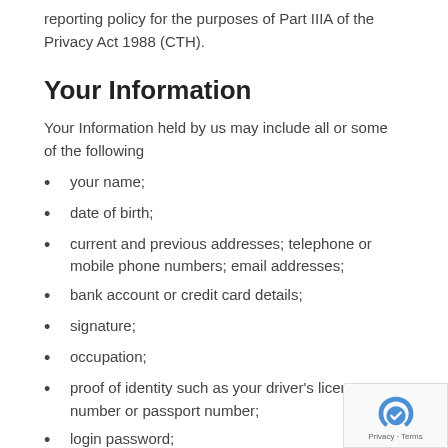reporting policy for the purposes of Part IIIA of the Privacy Act 1988 (CTH).
Your Information
Your Information held by us may include all or some of the following
your name;
date of birth;
current and previous addresses; telephone or mobile phone numbers; email addresses;
bank account or credit card details;
signature;
occupation;
proof of identity such as your driver's licence number or passport number;
login password;